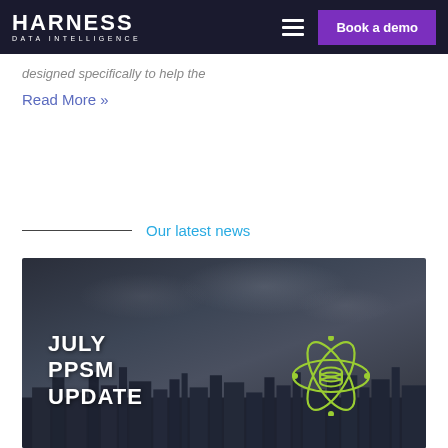HARNESS DATA INTELLIGENCE — Book a demo
designed specifically to help the
Read More »
Our latest news
[Figure (photo): News card image showing a city skyline under a dramatic cloudy sky with text 'JULY PPSM UPDATE' and a green atom/data icon on the right]